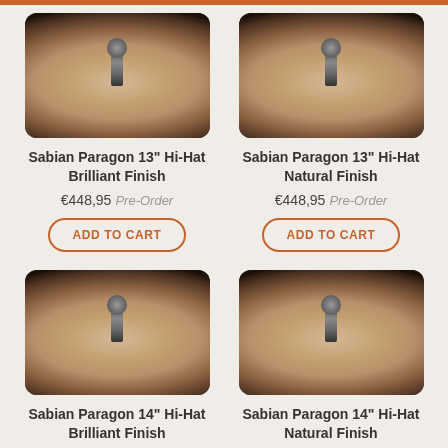Sabian Paragon 13" Hi-Hat Brilliant Finish
€448,95 Pre-Order
ADD TO CART
[Figure (photo): Sabian Paragon 13 inch cymbal hi-hat brilliant finish product photo, blurred]
Sabian Paragon 13" Hi-Hat Natural Finish
€448,95 Pre-Order
ADD TO CART
[Figure (photo): Sabian Paragon 13 inch cymbal hi-hat natural finish product photo, blurred]
Sabian Paragon 14" Hi-Hat Brilliant Finish
€489,95 Pre-Order
[Figure (photo): Sabian Paragon 14 inch cymbal hi-hat brilliant finish product photo, blurred]
Sabian Paragon 14" Hi-Hat Natural Finish
€489,95 Pre-Order
[Figure (photo): Sabian Paragon 14 inch cymbal hi-hat natural finish product photo, blurred]